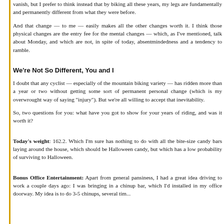vanish, but I prefer to think instead that by biking all these years, my legs are fundamentally and permanently different from what they were before.
And that change — to me — easily makes all the other changes worth it. I think those physical changes are the entry fee for the mental changes — which, as I've mentioned, talk about Monday, and which are not, in spite of today, absentmindedness and a tendency to ramble.
We're Not So Different, You and I
I doubt that any cyclist — especially of the mountain biking variety — has ridden more than a year or two without getting some sort of permanent personal change (which is my overwrought way of saying "injury"). But we're all willing to accept that inevitability.
So, two questions for you: what have you got to show for your years of riding, and was it worth it?
Today's weight: 162.2. Which I'm sure has nothing to do with all the bite-size candy bars laying around the house, which should be Halloween candy, but which has a low probability of surviving to Halloween.
Bonus Office Entertainment: Apart from general pansiness, I had a great idea driving to work a couple days ago: I was bringing in a chinup bar, which I'd installed in my office doorway. My idea is to do 3-5 chinups, several tim...